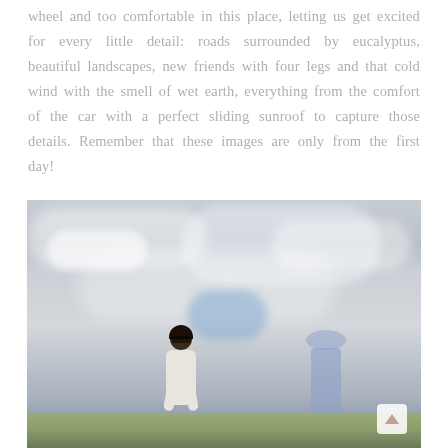wheel and too comfortable in this place, letting us get excited for every little detail: roads surrounded by eucalyptus, beautiful landscapes, new friends with four legs and that cold wind with the smell of wet earth, everything from the comfort of the car with a perfect sliding sunroof to capture those details. Remember that these images are only from the first day!
[Figure (photo): A person wearing sunglasses and a white top standing outdoors against a dramatic cloudy sky, with green hills and what appears to be a distant statue or structure in the background.]